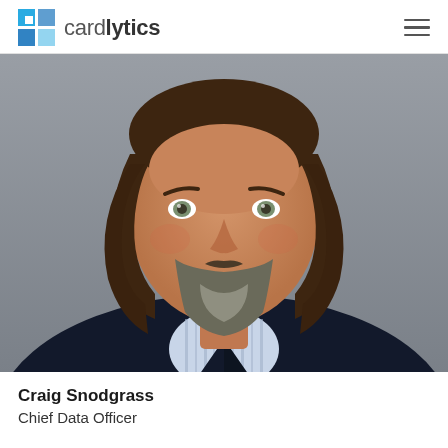[Figure (logo): Cardlytics logo with blue squares icon and wordmark 'cardlytics']
[Figure (photo): Professional headshot of Craig Snodgrass, a middle-aged man with brown hair and a grey beard, wearing a dark suit jacket and striped shirt, photographed against a grey background.]
Craig Snodgrass
Chief Data Officer